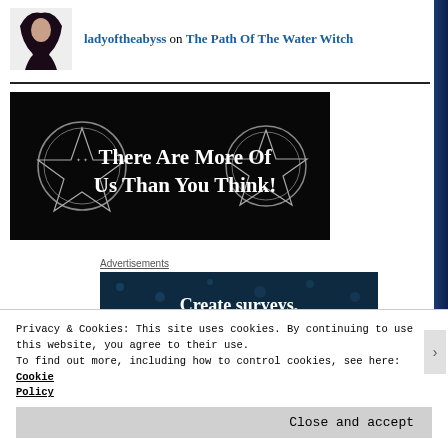ladyoftheabyss on The Path Of The Water Witch
[Figure (illustration): Black banner with two pentagram/pentacle symbols on left and right, white text reading 'There Are More Of Us Than You Think!']
Advertisements
[Figure (illustration): Dark teal/navy advertisement banner with dots pattern, white bold text reading 'Create surveys,']
Privacy & Cookies: This site uses cookies. By continuing to use this website, you agree to their use.
To find out more, including how to control cookies, see here: Cookie Policy
Close and accept